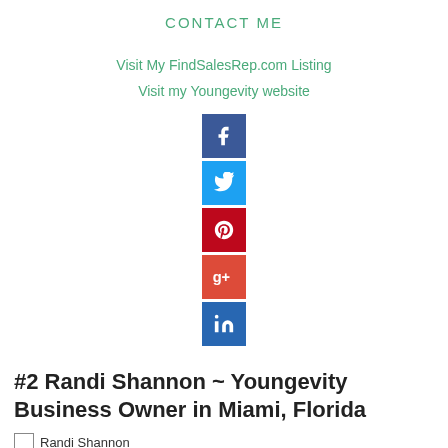CONTACT ME
Visit My FindSalesRep.com Listing
Visit my Youngevity website
[Figure (infographic): Vertical stack of 5 social media icons: Facebook (blue), Twitter (light blue), Pinterest (red), Google+ (red-orange), LinkedIn (blue)]
#2 Randi Shannon ~ Youngevity Business Owner in Miami, Florida
[Figure (photo): Broken image placeholder labeled 'Randi Shannon']